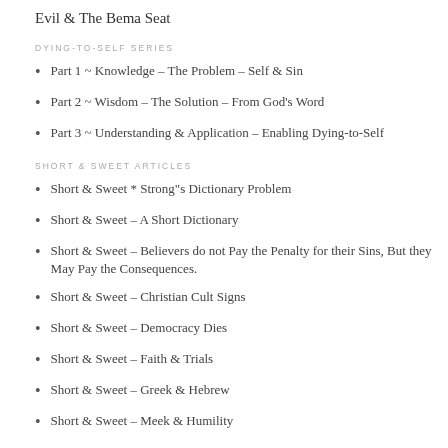Evil & The Bema Seat
DYING-TO-SELF SERIES
Part 1 ~ Knowledge – The Problem – Self & Sin
Part 2 ~ Wisdom – The Solution – From God's Word
Part 3 ~ Understanding & Application – Enabling Dying-to-Self
SHORT & SWEET ARTICLES
Short & Sweet * Strong"s Dictionary Problem
Short & Sweet – A Short Dictionary
Short & Sweet – Believers do not Pay the Penalty for their Sins, But they May Pay the Consequences.
Short & Sweet – Christian Cult Signs
Short & Sweet – Democracy Dies
Short & Sweet – Faith & Trials
Short & Sweet – Greek & Hebrew
Short & Sweet – Meek & Humility